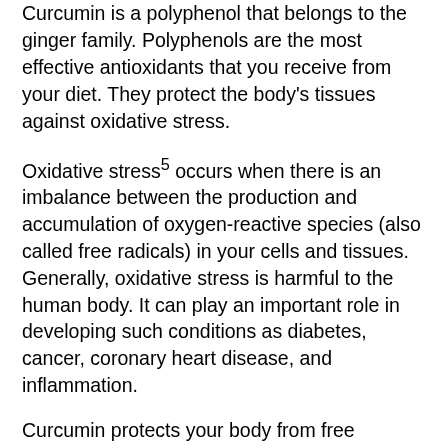Curcumin is a polyphenol that belongs to the ginger family. Polyphenols are the most effective antioxidants that you receive from your diet. They protect the body's tissues against oxidative stress.
Oxidative stress⁵ occurs when there is an imbalance between the production and accumulation of oxygen-reactive species (also called free radicals) in your cells and tissues. Generally, oxidative stress is harmful to the human body. It can play an important role in developing such conditions as diabetes, cancer, coronary heart disease, and inflammation.
Curcumin protects your body from free radicals that prevail when oxidative stress occurs. This, in turn, protects your cells from damage.
It's worth noting that while curcumin is the active ingredient of turmeric, its content in this spice is